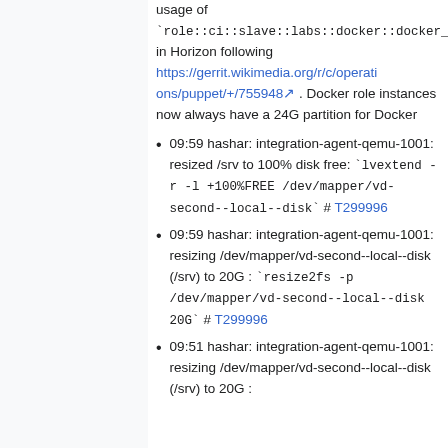usage of `role::ci::slave::labs::docker::docker_lvm` in Horizon following https://gerrit.wikimedia.org/r/c/operations/puppet/+/755948 . Docker role instances now always have a 24G partition for Docker
09:59 hashar: integration-agent-qemu-1001: resized /srv to 100% disk free: `lvextend -r -l +100%FREE /dev/mapper/vd-second--local--disk` # T299996
09:59 hashar: integration-agent-qemu-1001: resizing /dev/mapper/vd-second--local--disk (/srv) to 20G : `resize2fs -p /dev/mapper/vd-second--local--disk 20G` # T299996
09:51 hashar: integration-agent-qemu-1001: resizing /dev/mapper/vd-second--local--disk (/srv) to 20G :